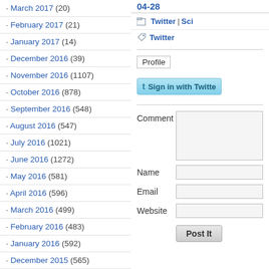March 2017 (20)
February 2017 (21)
January 2017 (14)
December 2016 (39)
November 2016 (1107)
October 2016 (878)
September 2016 (548)
August 2016 (547)
July 2016 (1021)
June 2016 (1272)
May 2016 (581)
April 2016 (596)
March 2016 (499)
February 2016 (483)
January 2016 (592)
December 2015 (565)
November 2015 (126)
October 2015 (28)
04-28
Twitter | Sci
Twitter
Profile
Sign in with Twitter
Comment
Name
Email
Website
Post It